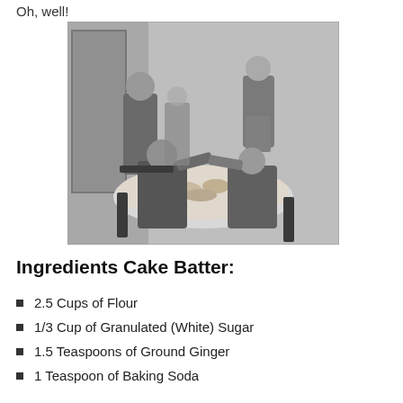Oh, well!
[Figure (photo): Black and white photograph of four people seated around a dining table with food, appearing to be sharing a meal in an indoor setting.]
Ingredients Cake Batter:
2.5 Cups of Flour
1/3 Cup of Granulated (White) Sugar
1.5 Teaspoons of Ground Ginger
1 Teaspoon of Baking Soda